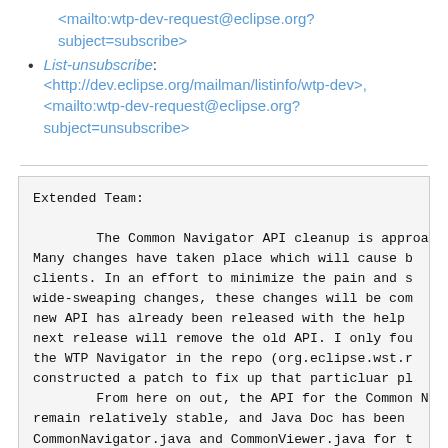<mailto:wtp-dev-request@eclipse.org?subject=subscribe>
List-unsubscribe: <http://dev.eclipse.org/mailman/listinfo/wtp-dev>, <mailto:wtp-dev-request@eclipse.org?subject=unsubscribe>
Extended Team:

        The Common Navigator API cleanup is approa Many changes have taken place which will cause b clients. In an effort to minimize the pain and s wide-sweaping changes, these changes will be com new API has already been released with the help next release will remove the old API. I only fou the WTP Navigator in the repo (org.eclipse.wst.r constructed a patch to fix up that particluar pl
        From here on out, the API for the Common N remain relatively stable, and Java Doc has been CommonNavigator.java and CommonViewer.java for t level view. The documentation effort will be co high level architecture document to be released